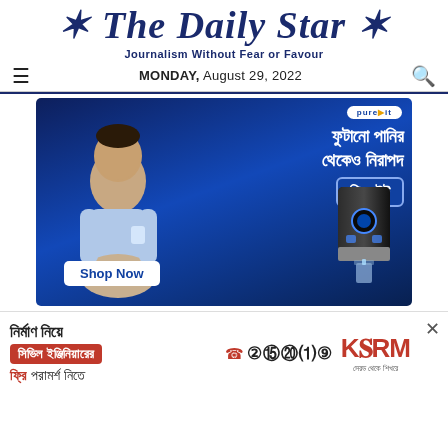The Daily Star
Journalism Without Fear or Favour
MONDAY, August 29, 2022
[Figure (photo): Advertisement for PureIt water purifier featuring a man holding a glass of water, Bengali text reading 'ফুটানো পানির থেকেও নিরাপদ পিওরইট', a water purifier device, and a 'Shop Now' button on a dark blue background]
[Figure (photo): Advertisement for KSRM steel company with Bengali text 'নির্মাণ নিয়ে সিভিল ইঞ্জিনিয়ারের ফ্রি পরামর্শ নিতে', phone number 16749, and KSRM logo]